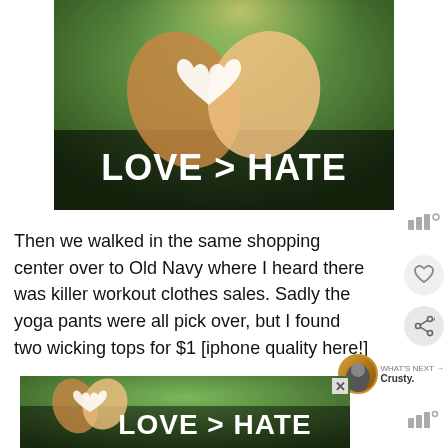[Figure (photo): Two hands forming a heart shape against a blurred green background, with bold white text reading 'LOVE > HATE' overlaid at the bottom of the image.]
Then we walked in the same shopping center over to Old Navy where I heard there was killer workout clothes sales. Sadly the yoga pants were all pick over, but I found two wicking tops for $1 [iphone quality here!]
[Figure (photo): Partial repeat of the 'LOVE > HATE' advertisement image at the bottom of the page, showing hands forming a heart with the same text overlay, appearing as a banner ad with a close (X) button.]